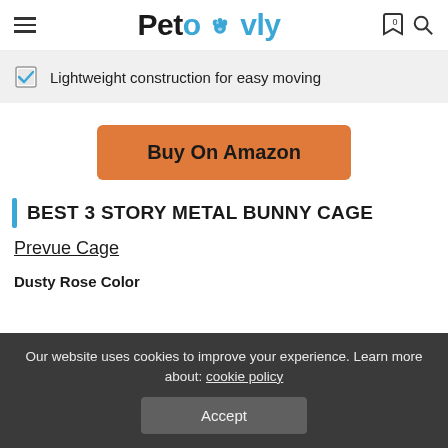Petovly
Lightweight construction for easy moving
Buy On Amazon
BEST 3 STORY METAL BUNNY CAGE
Prevue Cage
Dusty Rose Color
Our website uses cookies to improve your experience. Learn more about: cookie policy